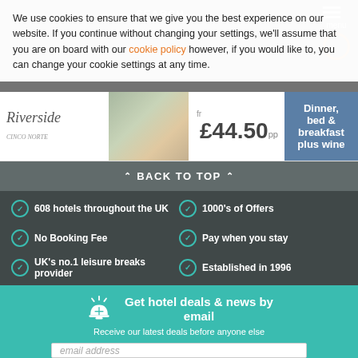We use cookies to ensure that we give you the best experience on our website. If you continue without changing your settings, we'll assume that you are on board with our cookie policy however, if you would like to, you can change your cookie settings at any time.
[Figure (screenshot): Hotel offer banner showing Riverside hotel logo, restaurant interior photo, price from £44.50 pp, and Dinner bed & breakfast plus wine CTA button]
⌃ BACK TO TOP ⌃
608 hotels throughout the UK
1000's of Offers
No Booking Fee
Pay when you stay
UK's no.1 leisure breaks provider
Established in 1996
Get hotel deals & news by email
Receive our latest deals before anyone else
email address